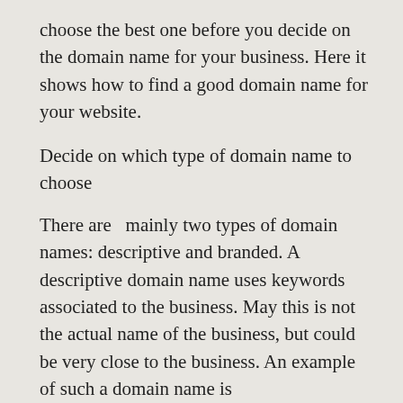choose the best one before you decide on the domain name for your business. Here it shows how to find a good domain name for your website.
Decide on which type of domain name to choose
There are  mainly two types of domain names: descriptive and branded. A descriptive domain name uses keywords associated to the business. May this is not the actual name of the business, but could be very close to the business. An example of such a domain name is “www.sellyourcar.com.” Everyone who hears can understand exactly what the core function of the business is.
While choosing a descriptive domain name, you must have a research to find out which keywords best describe your business. Most appropriate keyword will help the business...